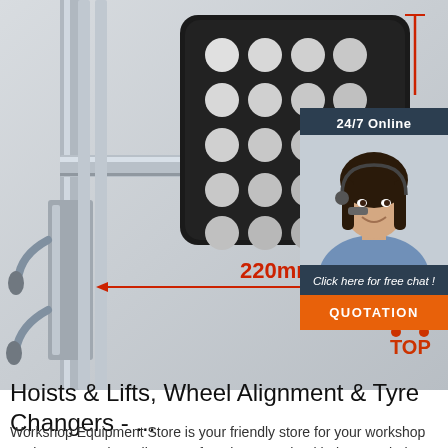[Figure (photo): Close-up product photo of a wheel balancer or tyre changer machine component. Shows a square black rubber pad with 25 circular white/grey grip dots arranged in a 5x5 grid pattern, mounted on a silver metallic arm/mechanism. A red double-headed arrow annotates '220mm' measurement. Top-right corner shows a red vertical measurement line.]
[Figure (photo): Chat widget overlay showing '24/7 Online' label, a female customer service agent with headset smiling, text 'Click here for free chat!', and an orange QUOTATION button.]
Hoists & Lifts, Wheel Alignment & Tyre Changers - ...
Workshop Equipment Store is your friendly store for your workshop equipment needs. Full range of equipment, wheel balancers, hoists, scissor lifts, alignment machines